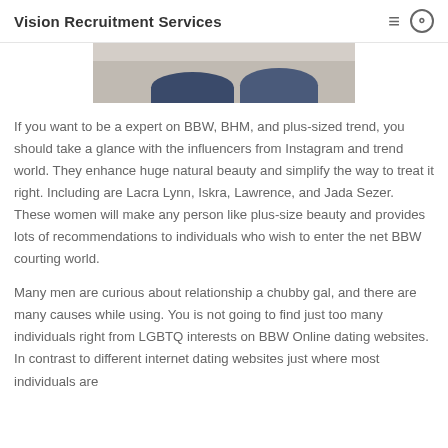Vision Recruitment Services
[Figure (photo): Partial photo showing two pairs of feet wearing blue/navy shoes on a light surface, cropped at the top]
If you want to be a expert on BBW, BHM, and plus-sized trend, you should take a glance with the influencers from Instagram and trend world. They enhance huge natural beauty and simplify the way to treat it right. Including are Lacra Lynn, Iskra, Lawrence, and Jada Sezer. These women will make any person like plus-size beauty and provides lots of recommendations to individuals who wish to enter the net BBW courting world.
Many men are curious about relationship a chubby gal, and there are many causes while using. You is not going to find just too many individuals right from LGBTQ interests on BBW Online dating websites. In contrast to different internet dating websites just where most individuals are